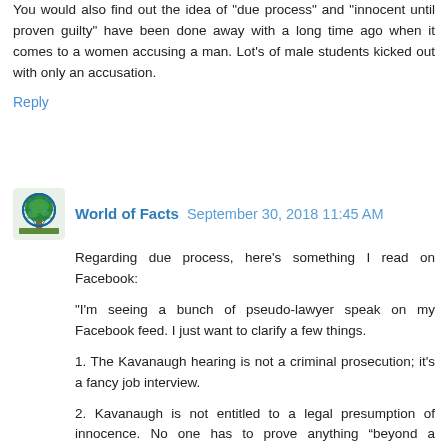You would also find out the idea of "due process" and "innocent until proven guilty" have been done away with a long time ago when it comes to a women accusing a man. Lot's of male students kicked out with only an accusation.
Reply
World of Facts  September 30, 2018 11:45 AM
Regarding due process, here's something I read on Facebook:
"I'm seeing a bunch of pseudo-lawyer speak on my Facebook feed. I just want to clarify a few things.
1. The Kavanaugh hearing is not a criminal prosecution; it's a fancy job interview.
2. Kavanaugh is not entitled to a legal presumption of innocence. No one has to prove anything “beyond a reasonable doubt.”
3. Kavanaugh is not entitled to any “due process” during